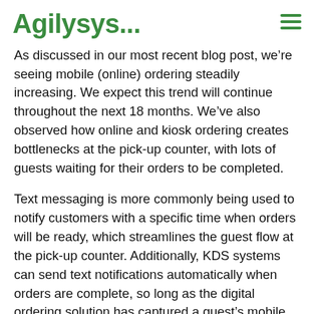Agilysys...
As discussed in our most recent blog post, we're seeing mobile (online) ordering steadily increasing. We expect this trend will continue throughout the next 18 months. We've also observed how online and kiosk ordering creates bottlenecks at the pick-up counter, with lots of guests waiting for their orders to be completed.
Text messaging is more commonly being used to notify customers with a specific time when orders will be ready, which streamlines the guest flow at the pick-up counter. Additionally, KDS systems can send text notifications automatically when orders are complete, so long as the digital ordering solution has captured a guest's mobile number.